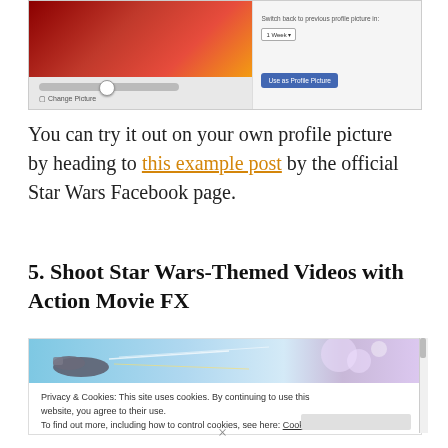[Figure (screenshot): Facebook profile picture editor screenshot showing a Star Wars themed image being cropped, with slider controls, Change Picture option, Switch back to previous profile picture in 1 Week dropdown, and Use as Profile Picture blue button]
You can try it out on your own profile picture by heading to this example post by the official Star Wars Facebook page.
5. Shoot Star Wars-Themed Videos with Action Movie FX
[Figure (screenshot): Screenshot of a Star Wars themed video app page showing a spaceship and laser beams in the sky, with a cookie/privacy notice overlay at the bottom reading: Privacy & Cookies: This site uses cookies. By continuing to use this website, you agree to their use. To find out more, including how to control cookies, see here: Cookie Policy]
×